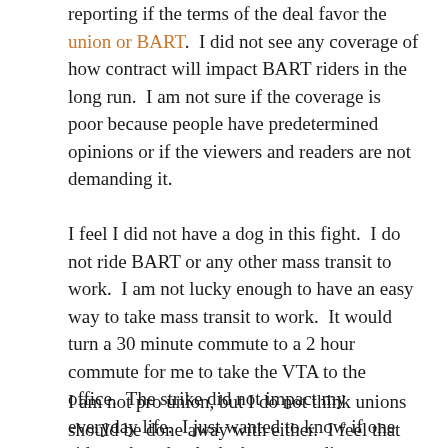reporting if the terms of the deal favor the union or BART.  I did not see any coverage of how contract will impact BART riders in the long run.  I am not sure if the coverage is poor because people have predetermined opinions or if the viewers and readers are not demanding it.
I feel I did not have a dog in this fight.  I do not ride BART or any other mass transit to work.  I am not lucky enough to have an easy way to take mass transit to work.  It would turn a 30 minute commute to a 2 hour commute for me to take the VTA to the office.  The strike did not impact my everyday life.  I just wanted to know if one side or the other had a better standing.
I am not pro union, but I do not think unions should be done away with either.  I feel that unions are often short sited and cause problems for themselves.  I think protecting jobs in the present with no care of the long